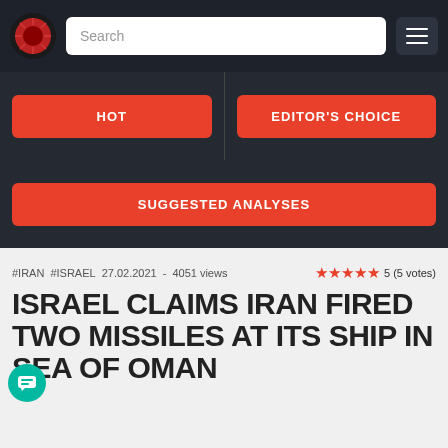Search
HOT
EDITOR'S CHOICE
SUGGESTED ANALYSES
#IRAN   #ISRAEL   27.02.2021  -  4051 views   5 (5 votes)
ISRAEL CLAIMS IRAN FIRED TWO MISSILES AT ITS SHIP IN SEA OF OMAN